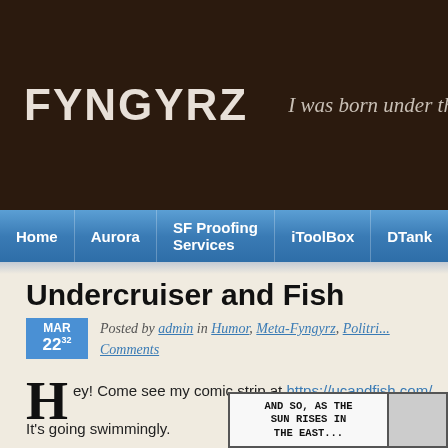FYNGYRZ | I was born under the
[Figure (screenshot): Navigation bar with menu items: Home, Aurora, SF Proofing Services, iToolBox, DTank]
Undercruiser and Fish
MAR 22 32 — Posted by admin in Humor, Meta-Fyngyrz, Politri... Comments
Hey! Come see my comic strip at https://ucandfish.com/
It's going swimmingly.
[Figure (illustration): Comic strip panel with text: AND SO, AS THE SUN RISES IN THE EAST...]